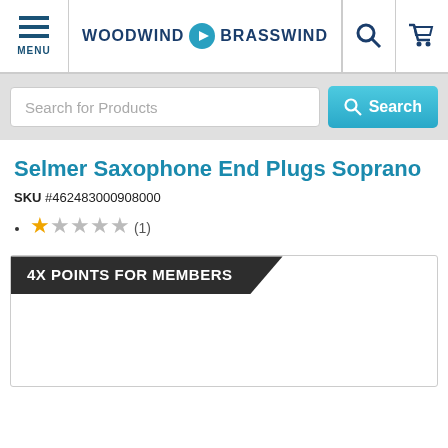MENU | WOODWIND & BRASSWIND
Search for Products
Selmer Saxophone End Plugs Soprano
SKU #462483000908000
★☆☆☆☆ (1)
4X POINTS FOR MEMBERS